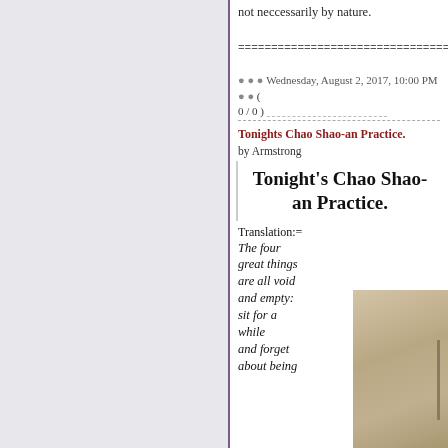not neccessarily by nature.
======================
● ● ●  Wednesday, August 2, 2017, 10:00 PM
● ●  (
0 / 0 )
Tonights Chao Shao-an Practice.
by Armstrong
Tonight's Chao Shao-an Practice.
Translation:= The four great things are all void and empty: sit for a while and forget about being
[Figure (photo): Partial view of a tan/beige colored paper or book page]